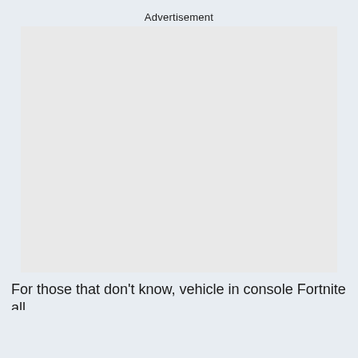Advertisement
[Figure (other): Empty advertisement placeholder box with light grey background]
For those that don't know, vehicle in console Fortnite all